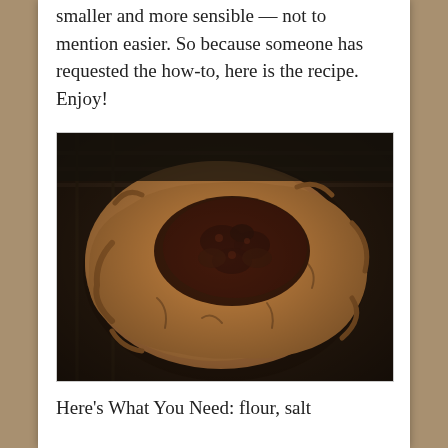smaller and more sensible — not to mention easier. So because someone has requested the how-to, here is the recipe. Enjoy!
[Figure (photo): A rustic blueberry galette (free-form pie) with golden-brown pastry crust folded around a dark berry filling, sitting on a dark baking sheet. The photo has a warm, vintage tone.]
Here's What You Need: flour, salt